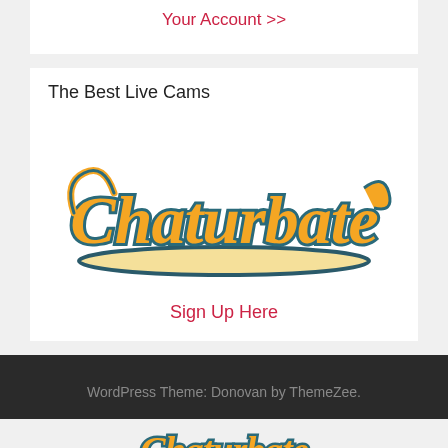Your Account >>
The Best Live Cams
[Figure (logo): Chaturbate logo in orange and teal script lettering with underline]
Sign Up Here
WordPress Theme: Donovan by ThemeZee.
[Figure (logo): Chaturbate logo partial, bottom of page]